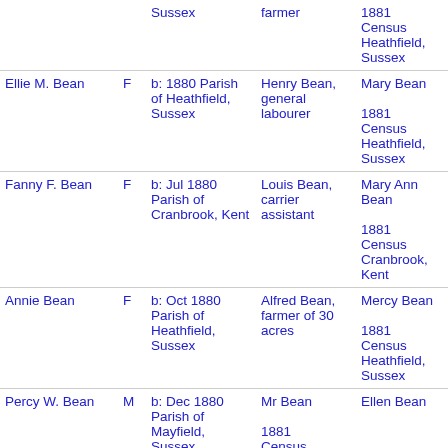| Name | Sex | Birth/Place | Father | Mother/Source |
| --- | --- | --- | --- | --- |
|  |  | Sussex | farmer | 1881 Census Heathfield, Sussex |
| Ellie M. Bean | F | b: 1880 Parish of Heathfield, Sussex | Henry Bean, general labourer | Mary Bean
1881 Census Heathfield, Sussex |
| Fanny F. Bean | F | b: Jul 1880 Parish of Cranbrook, Kent | Louis Bean, carrier assistant | Mary Ann Bean
1881 Census Cranbrook, Kent |
| Annie Bean | F | b: Oct 1880 Parish of Heathfield, Sussex | Alfred Bean, farmer of 30 acres | Mercy Bean
1881 Census Heathfield, Sussex |
| Percy W. Bean | M | b: Dec 1880 Parish of Mayfield, Sussex | Mr Bean
1881 Census Mayfield, Sussex | Ellen Bean |
| Percy W Bean | M | b: 1881 Parish | Humphrey | Ellen Bean |